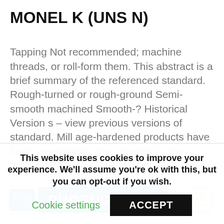MONEL K (UNS N)
Tapping Not recommended; machine threads, or roll-form them. This abstract is a brief summary of the referenced standard. Rough-turned or rough-ground Semi-smooth machined Smooth-? Historical Version s – view previous versions of standard. Mill age-hardened products have been precipitation heat treated by the manufacturer and further thermal treatment is not normally required. The products supplied by us are highly corrosion resistant.
[Figure (logo): Phoenix supplier logo banner with blue background and orange accents, alongside a circular quality assurance badge]
This website uses cookies to improve your experience. We'll assume you're ok with this, but you can opt-out if you wish.
Cookie settings   ACCEPT